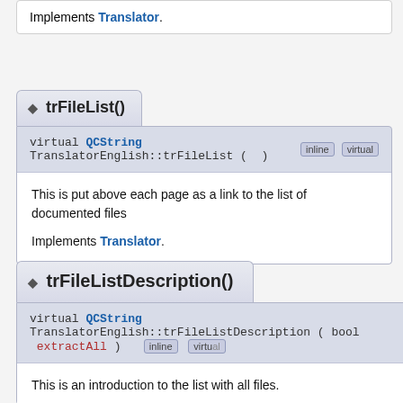Implements Translator.
◆ trFileList()
virtual QCString TranslatorEnglish::trFileList ( )  [inline] [virtual]
This is put above each page as a link to the list of documented files

Implements Translator.
◆ trFileListDescription()
virtual QCString TranslatorEnglish::trFileListDescription ( bool extractAll )  [inline] [virtual]
This is an introduction to the list with all files.